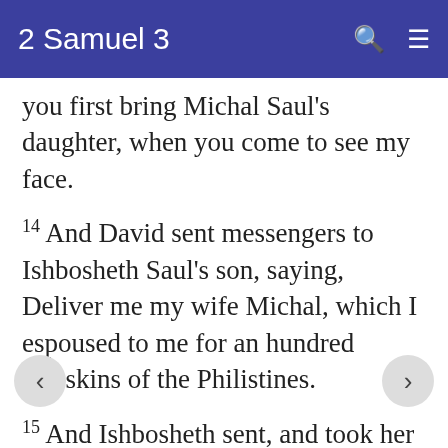2 Samuel 3
you first bring Michal Saul's daughter, when you come to see my face.
14 And David sent messengers to Ishbosheth Saul's son, saying, Deliver me my wife Michal, which I espoused to me for an hundred foreskins of the Philistines.
15 And Ishbosheth sent, and took her from husband, even from Phaltiel the son of Laish.
16 And her husband went with her along